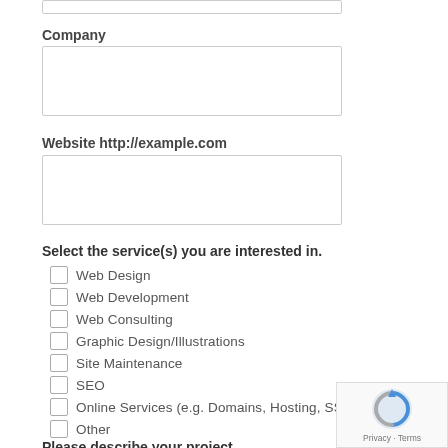[Figure (other): Input text field (top, partially visible)]
Company
[Figure (other): Company input text field]
Website http://example.com
[Figure (other): Website input text field]
Select the service(s) you are interested in.
Web Design
Web Development
Web Consulting
Graphic Design/Illustrations
Site Maintenance
SEO
Online Services (e.g. Domains, Hosting, SSL, Em...
Other
Please describe your project.